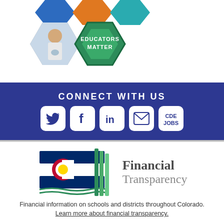[Figure (illustration): Hexagonal honeycomb graphic with educator-themed images and text. One hexagon shows a photo of a student in a lab coat pouring liquid. Adjacent hexagon shows text 'EDUCATORS MATTER' on a green hexagonal badge. Other partial hexagons visible at top in blue, orange, and gray.]
[Figure (infographic): Dark blue banner reading 'CONNECT WITH US' with five white rounded-rectangle icon buttons: Twitter bird icon, Facebook 'f' icon, LinkedIn 'in' icon, envelope/email icon, and a button labeled 'CDE JOBS'.]
[Figure (logo): Colorado Financial Transparency logo: Colorado state flag graphic on left with green book/pages graphic overlay, and text 'Financial Transparency' on right in serif font.]
Financial information on schools and districts throughout Colorado. Learn more about financial transparency.